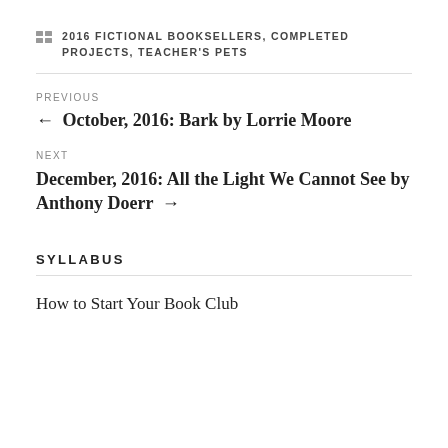2016 FICTIONAL BOOKSELLERS, COMPLETED PROJECTS, TEACHER'S PETS
← October, 2016: Bark by Lorrie Moore
December, 2016: All the Light We Cannot See by Anthony Doerr →
SYLLABUS
How to Start Your Book Club